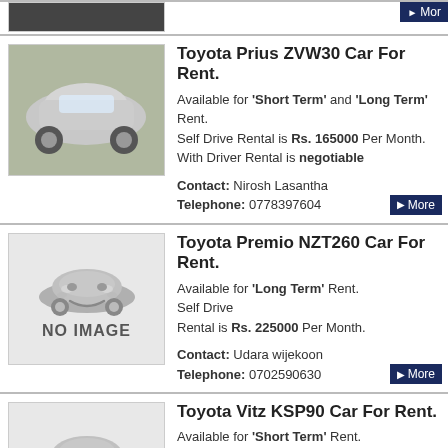[Figure (photo): Partial top listing with dark photo thumbnail]
[Figure (photo): Toyota Prius ZVW30 silver car photo]
Toyota Prius ZVW30 Car For Rent.
Available for 'Short Term' and 'Long Term' Rent. Self Drive Rental is Rs. 165000 Per Month. With Driver Rental is negotiable
Contact: Nirosh Lasantha Telephone: 0778397604
[Figure (illustration): No image placeholder with cartoon car graphic]
Toyota Premio NZT260 Car For Rent.
Available for 'Long Term' Rent. Self Drive Rental is Rs. 225000 Per Month.
Contact: Udara wijekoon Telephone: 0702590630
[Figure (illustration): No image placeholder with cartoon car graphic]
Toyota Vitz KSP90 Car For Rent.
Available for 'Short Term' Rent. Self Drive Rental is Rs. 80000 Per Month.
Contact: Y. N Fernando Telephone: 0772344199
Toyota Aqua GAC-XXXX Car For...